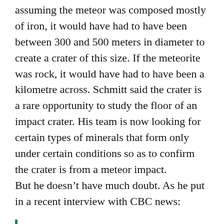assuming the meteor was composed mostly of iron, it would have had to have been between 300 and 500 meters in diameter to create a crater of this size. If the meteorite was rock, it would have had to have been a kilometre across. Schmitt said the crater is a rare opportunity to study the floor of an impact crater. His team is now looking for certain types of minerals that form only under certain conditions so as to confirm the crater is from a meteor impact.
But he doesn't have much doubt. As he put in a recent interview with CBC news:
We're able to get at the lower parts of (a crater) and see how rocks have been moved around... We're pretty confident it can only be a meteorite impact. It's pretty clear.